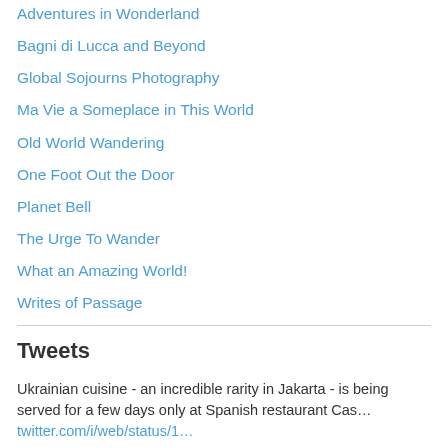Adventures in Wonderland
Bagni di Lucca and Beyond
Global Sojourns Photography
Ma Vie a Someplace in This World
Old World Wandering
One Foot Out the Door
Planet Bell
The Urge To Wander
What an Amazing World!
Writes of Passage
Tweets
Ukrainian cuisine - an incredible rarity in Jakarta - is being served for a few days only at Spanish restaurant Cas… twitter.com/i/web/status/1… 2 days ago
RT @danielchsuen: My last shoot for @AFP before moving onto a new journey. Fittingly concluding with one of Hong Kong's icons. 2 days ago